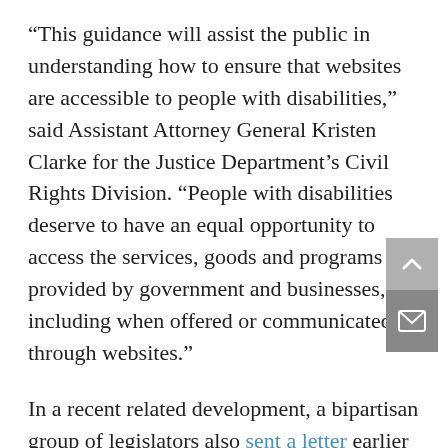“This guidance will assist the public in understanding how to ensure that websites are accessible to people with disabilities,” said Assistant Attorney General Kristen Clarke for the Justice Department’s Civil Rights Division. “People with disabilities deserve to have an equal opportunity to access the services, goods and programs provided by government and businesses, including when offered or communicated through websites.”
In a recent related development, a bipartisan group of legislators also sent a letter earlier this week to the U.S. Department of Veterans Affairs (VA), urging it to ensure that the VA websites meets...